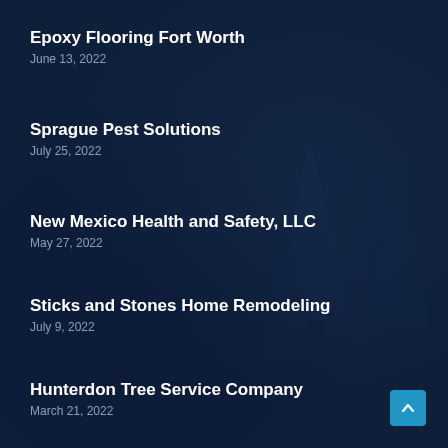Epoxy Flooring Fort Worth
June 13, 2022
Sprague Pest Solutions
July 25, 2022
New Mexico Health and Safety, LLC
May 27, 2022
Sticks and Stones Home Remodeling
July 9, 2022
Hunterdon Tree Service Company
March 21, 2022